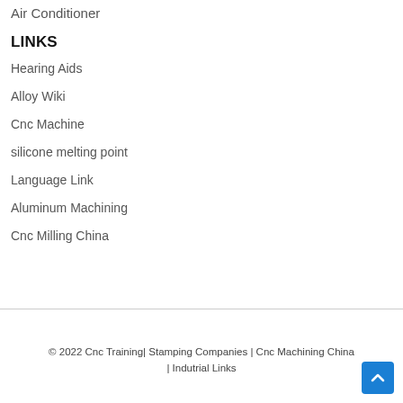Air Conditioner
LINKS
Hearing Aids
Alloy Wiki
Cnc Machine
silicone melting point
Language Link
Aluminum Machining
Cnc Milling China
© 2022 Cnc Training| Stamping Companies | Cnc Machining China | Indutrial Links